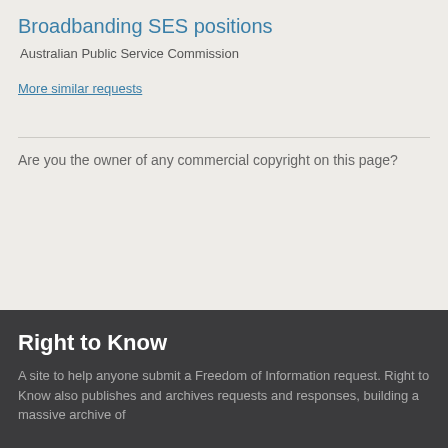Broadbanding SES positions
Australian Public Service Commission
More similar requests
Are you the owner of any commercial copyright on this page?
Right to Know
A site to help anyone submit a Freedom of Information request. Right to Know also publishes and archives requests and responses, building a massive archive of